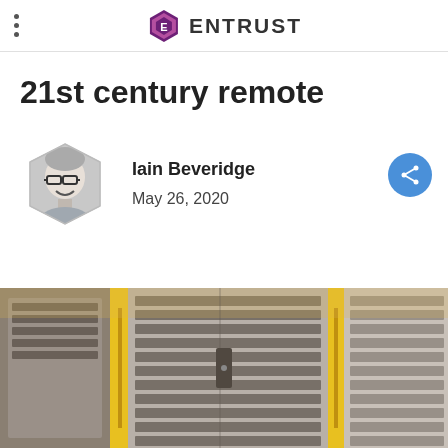ENTRUST
21st century remote
Iain Beveridge
May 26, 2020
[Figure (photo): Data center server racks with yellow accent lighting, viewed from a low angle, showing rows of server cabinets with metallic frames and yellow cable management panels.]